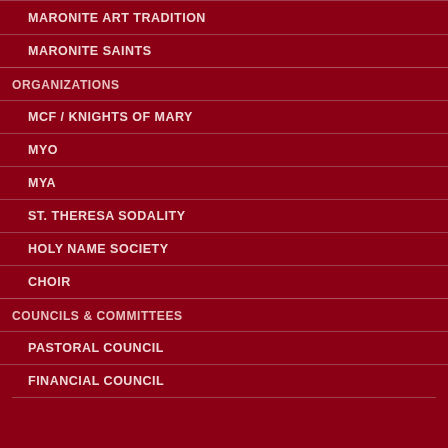MARONITE ART TRADITION
MARONITE SAINTS
ORGANIZATIONS
MCF / KNIGHTS OF MARY
MYO
MYA
ST. THERESA SODALITY
HOLY NAME SOCIETY
CHOIR
COUNCILS & COMMITTEES
PASTORAL COUNCIL
FINANCIAL COUNCIL